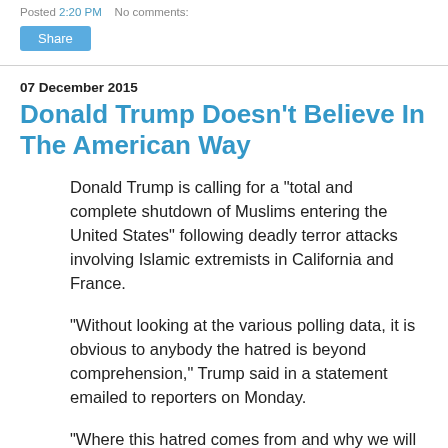Posted 2:20 PM   No comments:
Share
07 December 2015
Donald Trump Doesn't Believe In The American Way
Donald Trump is calling for a "total and complete shutdown of Muslims entering the United States" following deadly terror attacks involving Islamic extremists in California and France.
"Without looking at the various polling data, it is obvious to anybody the hatred is beyond comprehension," Trump said in a statement emailed to reporters on Monday.
"Where this hatred comes from and why we will have to determine. Until we are able to determine and understand this problem and the dangerous threat it poses, our country cannot be the victims